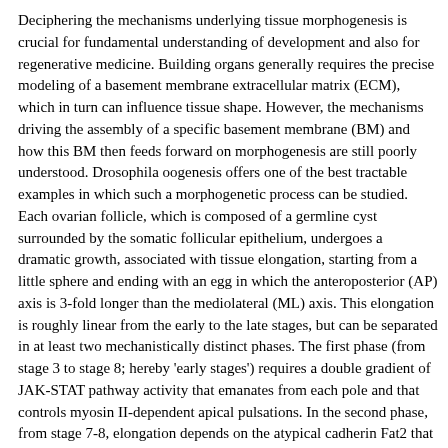Deciphering the mechanisms underlying tissue morphogenesis is crucial for fundamental understanding of development and also for regenerative medicine. Building organs generally requires the precise modeling of a basement membrane extracellular matrix (ECM), which in turn can influence tissue shape. However, the mechanisms driving the assembly of a specific basement membrane (BM) and how this BM then feeds forward on morphogenesis are still poorly understood. Drosophila oogenesis offers one of the best tractable examples in which such a morphogenetic process can be studied. Each ovarian follicle, which is composed of a germline cyst surrounded by the somatic follicular epithelium, undergoes a dramatic growth, associated with tissue elongation, starting from a little sphere and ending with an egg in which the anteroposterior (AP) axis is 3-fold longer than the mediolateral (ML) axis. This elongation is roughly linear from the early to the late stages, but can be separated in at least two mechanistically distinct phases. The first phase (from stage 3 to stage 8; hereby 'early stages') requires a double gradient of JAK-STAT pathway activity that emanates from each pole and that controls myosin II-dependent apical pulsations. In the second phase, from stage 7-8, elongation depends on the atypical cadherin Fat2 that is part of a planar cell polarity (PCP) pathway